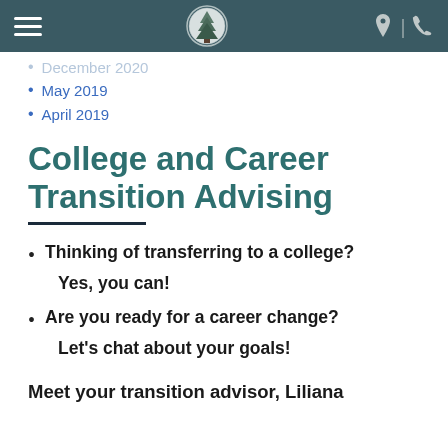Navigation bar with hamburger menu, logo, location and phone icons
December 2020
May 2019
April 2019
College and Career Transition Advising
Thinking of transferring to a college? Yes, you can!
Are you ready for a career change? Let's chat about your goals!
Meet your transition advisor, Liliana